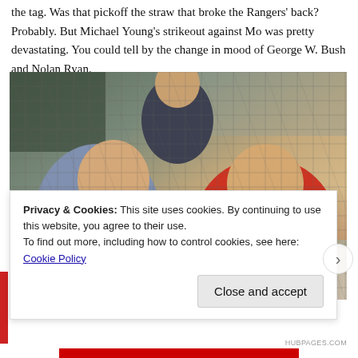the tag. Was that pickoff the straw that broke the Rangers' back? Probably. But Michael Young's strikeout against Mo was pretty devastating. You could tell by the change in mood of George W. Bush and Nolan Ryan.
[Figure (photo): George W. Bush and Nolan Ryan laughing together in the stands at a baseball game, leaning over a wall, with a security agent visible in the background. A diamond net is visible in front of them.]
Privacy & Cookies: This site uses cookies. By continuing to use this website, you agree to their use.
To find out more, including how to control cookies, see here: Cookie Policy
Close and accept